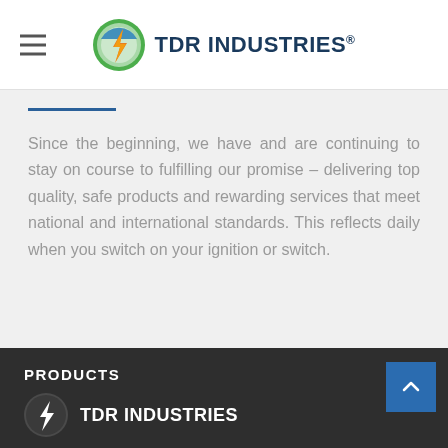TDR INDUSTRIES®
Since the beginning, we have and are continuing to stay on course to fulfilling our promise – delivering top quality, safe products and rewarding services that meet national and international standards. This reflects daily when you switch on your ignition or switch.
PRODUCTS
[Figure (logo): TDR Industries logo with lightning bolt icon, white and grey on dark background]